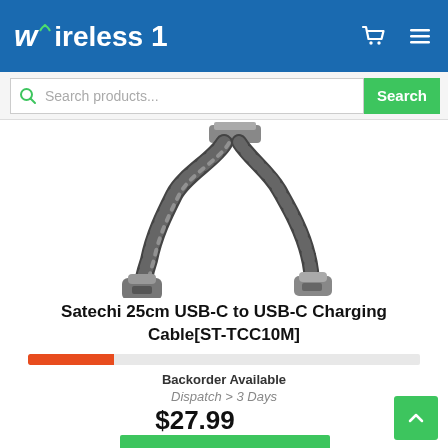Wireless 1
Search products...
[Figure (photo): USB-C to USB-C braided charging cable with two connectors shown, grey and black braided cable]
Satechi 25cm USB-C to USB-C Charging Cable[ST-TCC10M]
Backorder Available
Dispatch > 3 Days
$27.99
Add to Cart